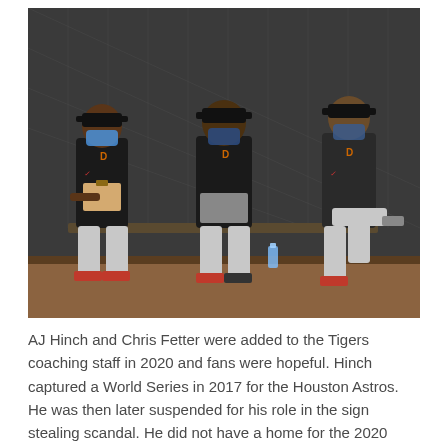[Figure (photo): Three baseball coaches/staff members wearing Detroit Tigers black uniforms and face masks, sitting on a bench in what appears to be a dugout or batting cage area. The leftmost person is writing on a clipboard, the middle person has hands folded, and the rightmost person is seated with legs crossed. Netting is visible in the background.]
AJ Hinch and Chris Fetter were added to the Tigers coaching staff in 2020 and fans were hopeful. Hinch captured a World Series in 2017 for the Houston Astros. He was then later suspended for his role in the sign stealing scandal. He did not have a home for the 2020 season due to the suspension by the MLB. Al Avila then hired Hinch to be the Manager of the